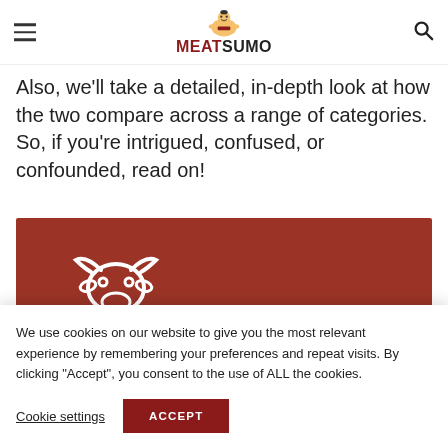MEATSUMO
you on the similarities and differences between ound chuck and gro beef.
Also, we'll take a detailed, in-depth look at how the two compare across a range of categories. So, if you're intrigued, confused, or confounded, read on!
[Figure (illustration): Red/brown background banner with white cow icon illustration at the bottom left portion]
We use cookies on our website to give you the most relevant experience by remembering your preferences and repeat visits. By clicking “Accept”, you consent to the use of ALL the cookies.